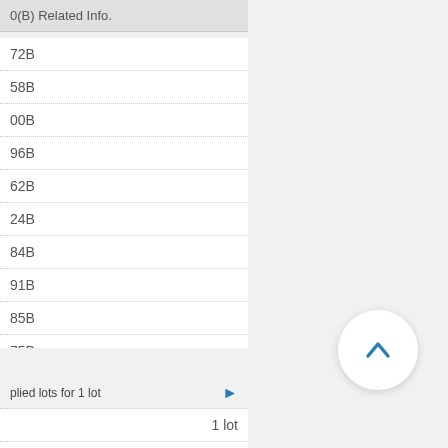0(B) Related Info.
72B
58B
00B
96B
62B
24B
84B
91B
85B
75B
plied lots for 1 lot
1 lot
N/A